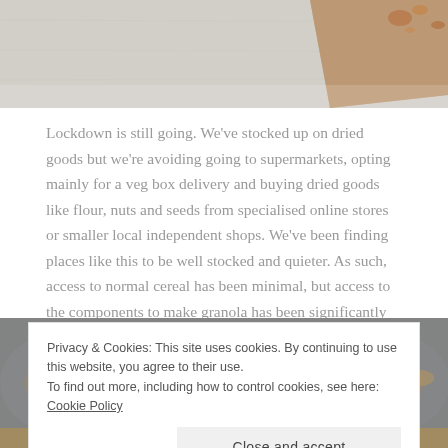[Figure (photo): Top portion of a food photo showing what appears to be baked goods on a white surface with a wooden board in the top right corner.]
Lockdown is still going. We've stocked up on dried goods but we're avoiding going to supermarkets, opting mainly for a veg box delivery and buying dried goods like flour, nuts and seeds from specialised online stores or smaller local independent shops. We've been finding places like this to be well stocked and quieter. As such, access to normal cereal has been minimal, but access to the components to make granola has been significantly easier. So we finally felt it was time to try and make a homemade granola recipe.
[Figure (photo): Bottom portion showing granola in a pan/bowl, partially obscured by cookie consent banner.]
Privacy & Cookies: This site uses cookies. By continuing to use this website, you agree to their use.
To find out more, including how to control cookies, see here: Cookie Policy
Close and accept